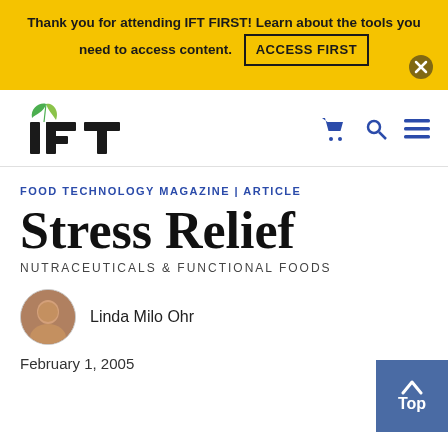Thank you for attending IFT FIRST! Learn about the tools you need to access content. ACCESS FIRST
[Figure (logo): IFT logo with green leaf icon above the I]
[Figure (infographic): Navigation icons: shopping cart, search, hamburger menu in blue]
FOOD TECHNOLOGY MAGAZINE | ARTICLE
Stress Relief
NUTRACEUTICALS & FUNCTIONAL FOODS
Linda Milo Ohr
February 1, 2005